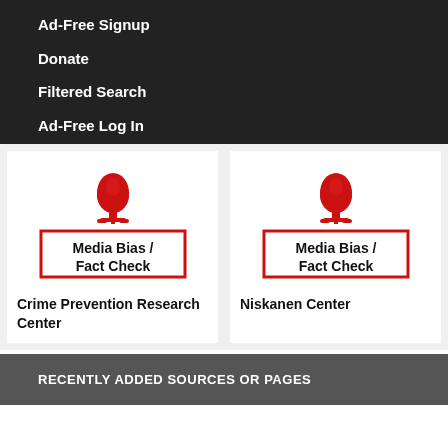Ad-Free Signup
Donate
Filtered Search
Ad-Free Log In
[Figure (logo): Media Bias / Fact Check logo with red microphone icon above a red-bordered rectangle containing the text 'Media Bias / Fact Check']
Crime Prevention Research Center
[Figure (logo): Media Bias / Fact Check logo with red microphone icon above a red-bordered rectangle containing the text 'Media Bias / Fact Check']
Niskanen Center
RECENTLY ADDED SOURCES OR PAGES